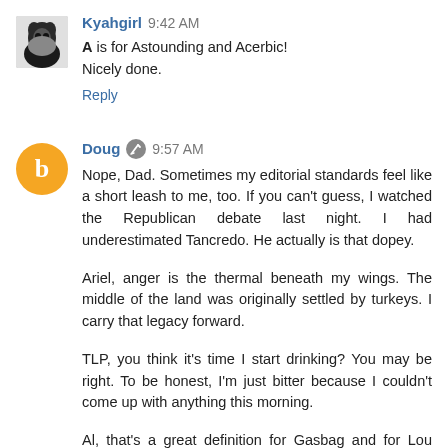Kyahgirl  9:42 AM
A is for Astounding and Acerbic! Nicely done.
Reply
Doug  9:57 AM
Nope, Dad. Sometimes my editorial standards feel like a short leash to me, too. If you can't guess, I watched the Republican debate last night. I had underestimated Tancredo. He actually is that dopey.
Ariel, anger is the thermal beneath my wings. The middle of the land was originally settled by turkeys. I carry that legacy forward.
TLP, you think it's time I start drinking? You may be right. To be honest, I'm just bitter because I couldn't come up with anything this morning.
Al, that's a great definition for Gasbag and for Lou Dobbs.